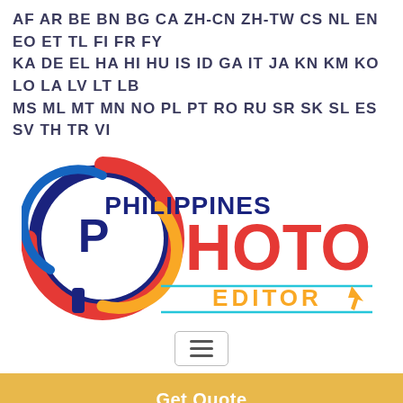AF AR BE BN BG CA ZH-CN ZH-TW CS NL EN EO ET TL FI FR FY KA DE EL HA HI HU IS ID GA IT JA KN KM KO LO LA LV LT LB MS ML MT MN NO PL PT RO RU SR SK SL ES SV TH TR VI
[Figure (logo): Philippines Photo Editor logo with circular swirl graphic in red, blue, and gold, and text 'PHILIPPINES PHOTO EDITOR']
[Figure (other): Hamburger menu button icon with three horizontal lines]
Get Quote
Image Manipulation